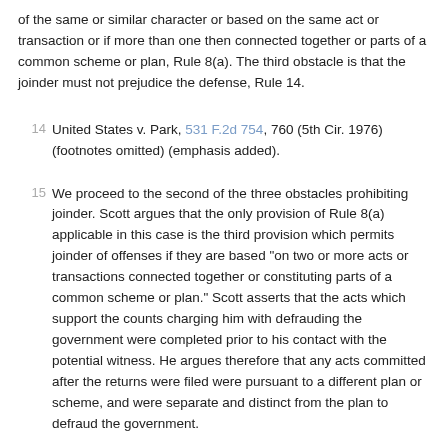of the same or similar character or based on the same act or transaction or if more than one then connected together or parts of a common scheme or plan, Rule 8(a). The third obstacle is that the joinder must not prejudice the defense, Rule 14.
14 United States v. Park, 531 F.2d 754, 760 (5th Cir. 1976) (footnotes omitted) (emphasis added).
15 We proceed to the second of the three obstacles prohibiting joinder. Scott argues that the only provision of Rule 8(a) applicable in this case is the third provision which permits joinder of offenses if they are based "on two or more acts or transactions connected together or constituting parts of a common scheme or plan." Scott asserts that the acts which support the counts charging him with defrauding the government were completed prior to his contact with the potential witness. He argues therefore that any acts committed after the returns were filed were pursuant to a different plan or scheme, and were separate and distinct from the plan to defraud the government.
16 The government, without conceding that section three is the only provision applicable to this case, argues that the tax counts and the